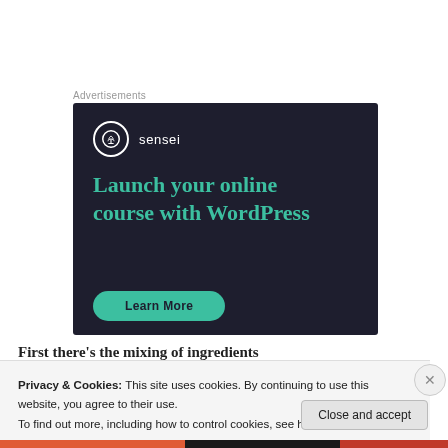Advertisements
[Figure (illustration): Sensei advertisement: dark navy background with Sensei logo (tree icon in white circle), text 'Launch your online course with WordPress' in teal/green serif font, and a teal 'Learn More' button at the bottom.]
First there's the mixing of ingredients
Privacy & Cookies: This site uses cookies. By continuing to use this website, you agree to their use.
To find out more, including how to control cookies, see here: Cookie Policy
Close and accept